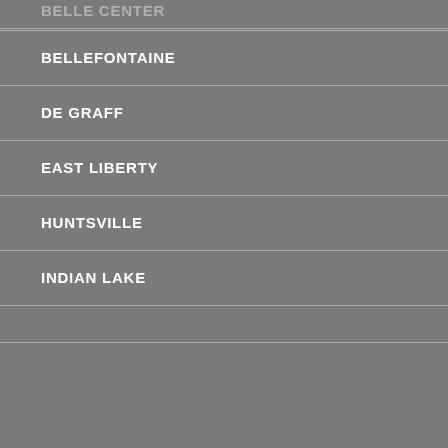BELLE CENTER
BELLEFONTAINE
DE GRAFF
EAST LIBERTY
HUNTSVILLE
INDIAN LAKE